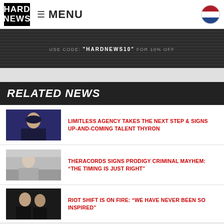HARD NEWS — MENU
[Figure (infographic): Banner advertisement with dark striped background and text: USE CODE: "HARDNEWS10" FOR 10% OFF]
RELATED NEWS
[Figure (photo): Thumbnail photo of a young man against a blue/dark background]
LIMITLESS AGENCY TAKES THE NEXT STEP & SIGNS UP-AND-COMING TALENT THYRON
[Figure (photo): Black and white thumbnail photo of a man outdoors]
THERACORDS SIGNS PRODIGY CRIMINAL MAYHEM: “THE TIMING IS JUST RIGHT”
[Figure (photo): Thumbnail photo of two men in dark clothing]
RIOT SHIFT IS ON FIRE: “WE HAVE NEVER BEEN SO INSPIRED”